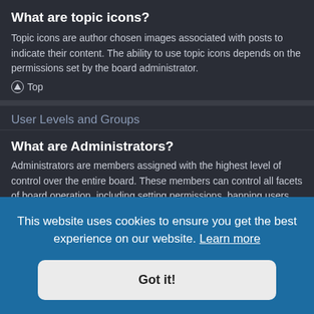What are topic icons?
Topic icons are author chosen images associated with posts to indicate their content. The ability to use topic icons depends on the permissions set by the board administrator.
⬆ Top
User Levels and Groups
What are Administrators?
Administrators are members assigned with the highest level of control over the entire board. These members can control all facets of board operation, including setting permissions, banning users, creating [... er and ...they may ...he]
This website uses cookies to ensure you get the best experience on our website. Learn more
Got it!
What are Moderators?